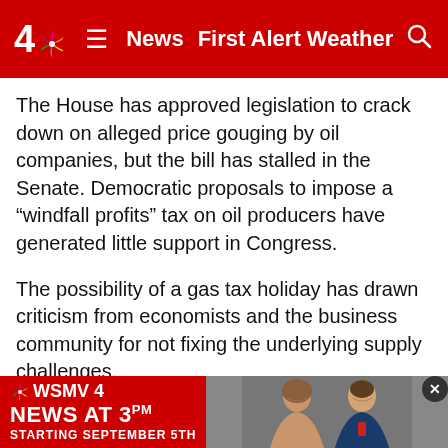4 NBC News  First Alert Weather  [search]
The House has approved legislation to crack down on alleged price gouging by oil companies, but the bill has stalled in the Senate. Democratic proposals to impose a “windfall profits” tax on oil producers have generated little support in Congress.
The possibility of a gas tax holiday has drawn criticism from economists and the business community for not fixing the underlying supply challenges.
In an address Tuesday at the Economic Club of New York, a non-profit, non-partisan business group, Target CEO Brian Cornell called the gas tax holiday a temporary “mini stimulus” that does nothing to fundamentally change the supply and demand curve for fuel and transportation.
[Figure (screenshot): WSMV 4 NBC News At 3pm Starting September 5th advertisement banner with two news anchors]